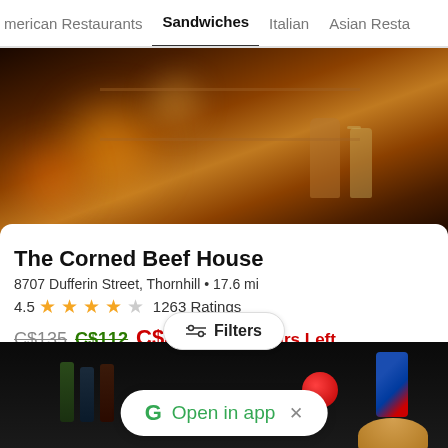American Restaurants   Sandwiches   Italian   Asian Resta…
[Figure (photo): Restaurant interior photo showing drinks on a bar counter with warm bokeh lighting]
The Corned Beef House
8707 Dufferin Street, Thornhill • 17.6 mi
4.5 ★★★★½ 1263 Ratings
C$135  C$112  C$89.60  23 Hours Left
Corned Beef Sandwich
[Figure (photo): Second restaurant listing photo showing food items including a burger and Pepsi can on a dark background]
Open in app